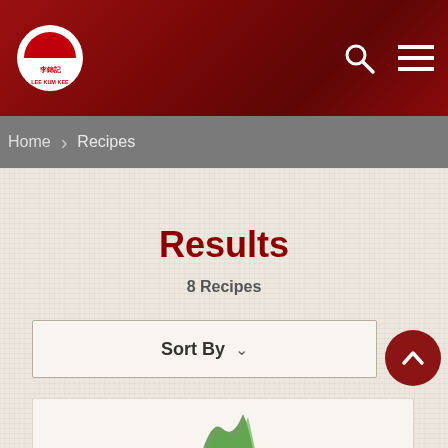[Figure (logo): Lee Kum Kee logo — red semicircle with Chinese characters and brand name LEE KUM KEE in white]
Lee Kum Kee website header with search icon and hamburger menu
Home > Recipes
Results
8 Recipes
Sort By
[Figure (screenshot): Partially visible recipe card at the bottom of the page with green garnish]